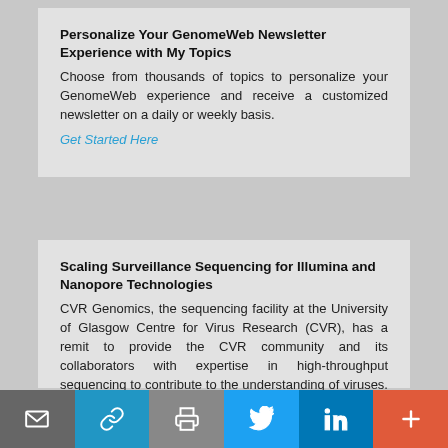Personalize Your GenomeWeb Newsletter Experience with My Topics
Choose from thousands of topics to personalize your GenomeWeb experience and receive a customized newsletter on a daily or weekly basis.
Get Started Here
Scaling Surveillance Sequencing for Illumina and Nanopore Technologies
CVR Genomics, the sequencing facility at the University of Glasgow Centre for Virus Research (CVR), has a remit to provide the CVR community and its collaborators with expertise in high-throughput sequencing to contribute to the understanding of viruses. Register here.